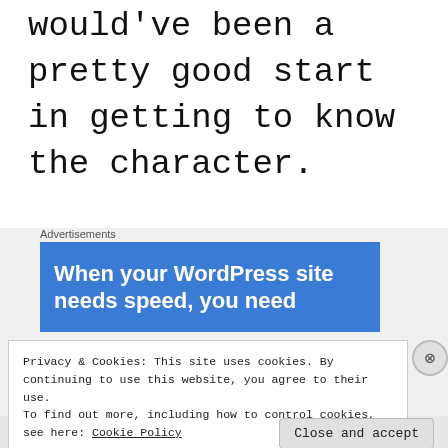would've been a pretty good start in getting to know the character.
Advertisements
[Figure (screenshot): Blue advertisement banner reading 'When your WordPress site needs speed, you need']
Privacy & Cookies: This site uses cookies. By continuing to use this website, you agree to their use.
To find out more, including how to control cookies, see here: Cookie Policy
Close and accept